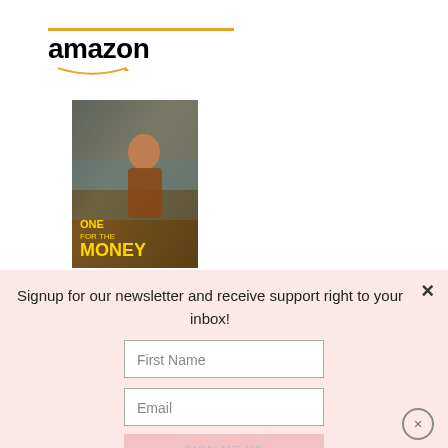[Figure (logo): Amazon logo with orange line above and smile arrow below the text]
[Figure (photo): Book cover of 'One for the Money' showing a woman and yellow text on a brown/city background]
One for the Money
$3.99
Signup for our newsletter and receive support right to your inbox!
First Name
Email
SIGN ME UP